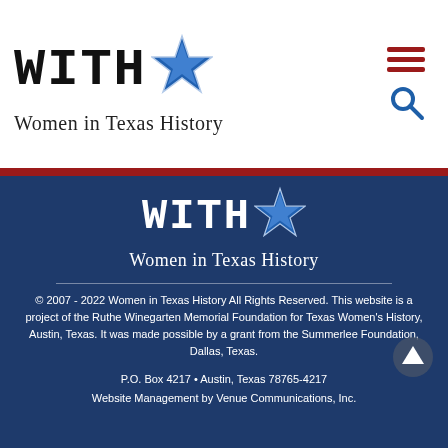[Figure (logo): Women in Texas History logo in header — WITH★ text with blue star, subtitle 'Women in Texas History']
[Figure (other): Hamburger menu icon (three red horizontal bars) and search icon (blue magnifying glass) in top right]
[Figure (logo): Women in Texas History logo in dark blue footer — WITH★ text with blue star on dark blue background, subtitle 'Women in Texas History']
© 2007 - 2022 Women in Texas History All Rights Reserved. This website is a project of the Ruthe Winegarten Memorial Foundation for Texas Women's History, Austin, Texas. It was made possible by a grant from the Summerlee Foundation, Dallas, Texas.
P.O. Box 4217 • Austin, Texas 78765-4217
Website Management by Venue Communications, Inc.